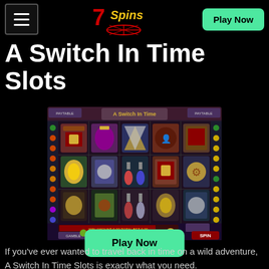7Spins — hamburger menu, logo, Play Now button
A Switch In Time Slots
[Figure (screenshot): Screenshot of A Switch In Time Slots casino game showing steampunk-themed slot machine with multiple reels displaying treasure chests, potions, and other items. Includes SPIN button and game controls at bottom.]
Play Now
If you've ever wanted to travel back in time on a wild adventure, A Switch In Time Slots is exactly what you need.